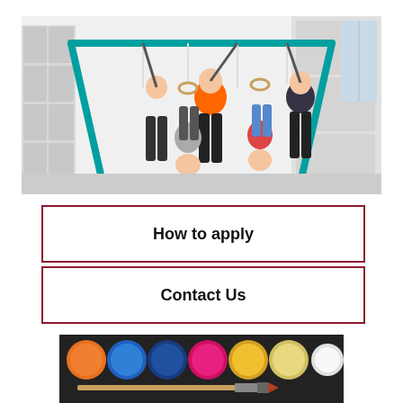[Figure (photo): Four children hanging from a teal-colored gymnastics frame in a school gym. Two children hang upside down from rings, two hang upright. One wears an orange hoodie, one a white shirt, and others in dark sportswear.]
How to apply
Contact Us
[Figure (photo): Colorful watercolor paint set with round paint pots in orange, blue, dark blue, pink, yellow, light yellow, and white, with a paintbrush resting in front, on a dark background.]